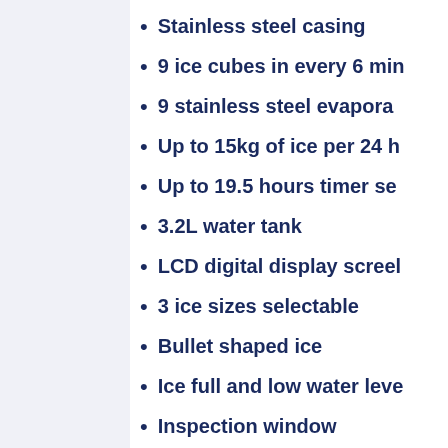Stainless steel casing
9 ice cubes in every 6 min
9 stainless steel evapora
Up to 15kg of ice per 24 h
Up to 19.5 hours timer se
3.2L water tank
LCD digital display screen
3 ice sizes selectable
Bullet shaped ice
Ice full and low water leve
Inspection window
Non-slip feet
Convenient water drainag
Large heat dissipation fa